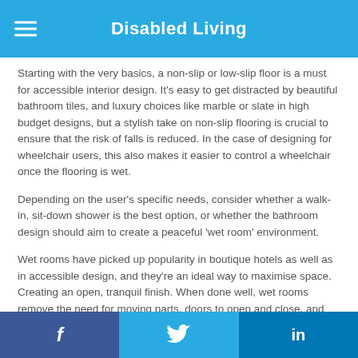Disabled Living
Starting with the very basics, a non-slip or low-slip floor is a must for accessible interior design. It's easy to get distracted by beautiful bathroom tiles, and luxury choices like marble or slate in high budget designs, but a stylish take on non-slip flooring is crucial to ensure that the risk of falls is reduced. In the case of designing for wheelchair users, this also makes it easier to control a wheelchair once the flooring is wet.
Depending on the user's specific needs, consider whether a walk-in, sit-down shower is the best option, or whether the bathroom design should aim to create a peaceful 'wet room' environment.
Wet rooms have picked up popularity in boutique hotels as well as in accessible design, and they're an ideal way to maximise space. Creating an open, tranquil finish. When done well, wet rooms remove the need for moving parts, doors to open and close, and raised bath sides to tackle.
In terms of colour and feel, any bathroom can be future-proofed with
f  Twitter  in